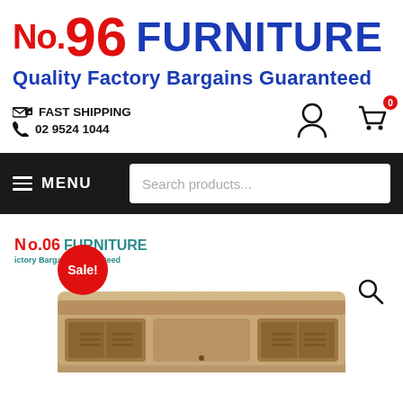No.96 FURNITURE
Quality Factory Bargains Guaranteed
FAST SHIPPING
02 9524 1044
[Figure (screenshot): Navigation bar with MENU button and Search products... search box]
[Figure (screenshot): Mini No.96 Furniture logo with Sale! badge overlay and search icon, above a wooden TV unit furniture product image]